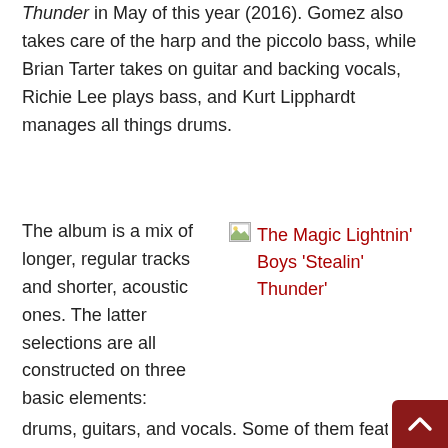Thunder in May of this year (2016). Gomez also takes care of the harp and the piccolo bass, while Brian Tarter takes on guitar and backing vocals, Richie Lee plays bass, and Kurt Lipphardt manages all things drums.
The album is a mix of longer, regular tracks and shorter, acoustic ones. The latter selections are all constructed on three basic elements: drums, guitars, and vocals. Some of them feature extra elements as
[Figure (photo): Image placeholder showing The Magic Lightnin' Boys 'Stealin' Thunder' album cover, displayed as a broken image icon with red link text]